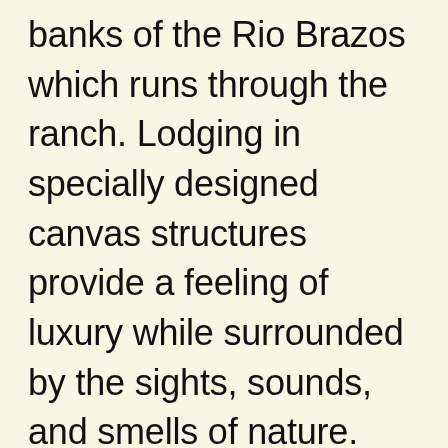banks of the Rio Brazos which runs through the ranch. Lodging in specially designed canvas structures provide a feeling of luxury while surrounded by the sights, sounds, and smells of nature. Wood Flooring and real beds with comfortable mattresses, linens, pillows